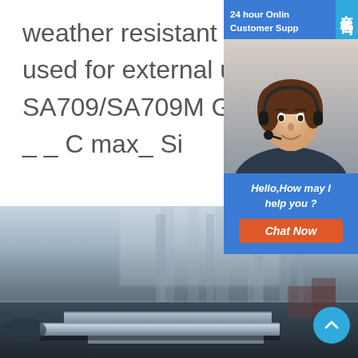weather resistant steel plate is generally used for external use._ASME SA709/SA709M Grade 36 Steel C _ _ C max_ Si
[Figure (screenshot): Live chat widget overlay showing '24 hour Online Customer Support' text, a customer support agent photo (woman with headset), '在线咨询' Chinese text, 'Hello, How may I help you?' message, and a 'Chat Now' orange button]
[Figure (photo): Industrial steel warehouse interior with steel plates stacked on the floor and large vertical structural columns in the background, hazy industrial atmosphere]